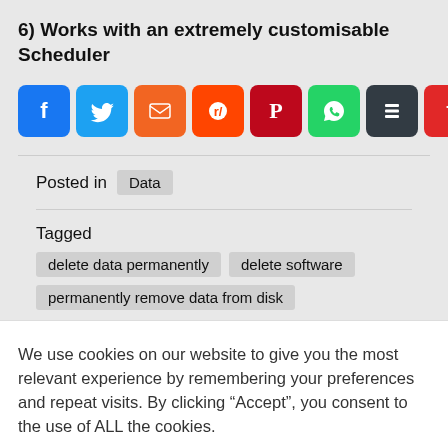6) Works with an extremely customisable Scheduler
[Figure (infographic): Row of social sharing icon buttons: Facebook (blue), Twitter (blue), Email (orange), Reddit (orange-red), Pinterest (dark red), WhatsApp (green), Buffer (dark/black), Flipboard (red), Pocket (pink-red), Share/Add (blue)]
Posted in  Data
Tagged  delete data permanently  delete software  permanently remove data from disk
We use cookies on our website to give you the most relevant experience by remembering your preferences and repeat visits. By clicking “Accept”, you consent to the use of ALL the cookies.
Cookie settings  ACCEPT